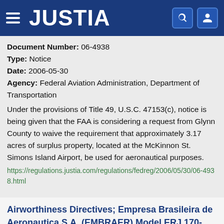JUSTIA
Document Number: 06-4938
Type: Notice
Date: 2006-05-30
Agency: Federal Aviation Administration, Department of Transportation
Under the provisions of Title 49, U.S.C. 47153(c), notice is being given that the FAA is considering a request from Glynn County to waive the requirement that approximately 3.17 acres of surplus property, located at the McKinnon St. Simons Island Airport, be used for aeronautical purposes.
https://regulations.justia.com/regulations/fedreg/2006/05/30/06-4938.html
Airworthiness Directives; Empresa Brasileira de Aeronautica S.A. (EMBRAER) Model ERJ 170-100 LR,